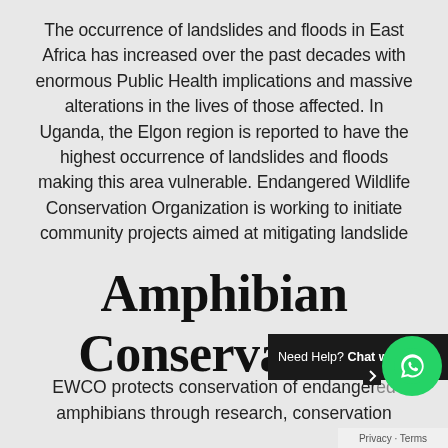The occurrence of landslides and floods in East Africa has increased over the past decades with enormous Public Health implications and massive alterations in the lives of those affected. In Uganda, the Elgon region is reported to have the highest occurrence of landslides and floods making this area vulnerable. Endangered Wildlife Conservation Organization is working to initiate community projects aimed at mitigating landslide
Amphibian Conservation
EWCO protects conservation of endangered amphibians through research, conservation